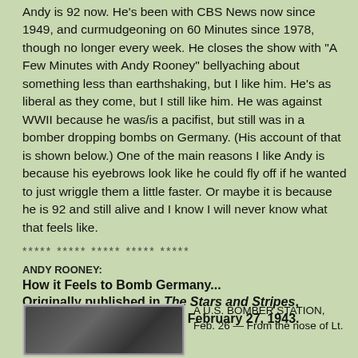Andy is 92 now. He's been with CBS News now since 1949, and curmudgeoning on 60 Minutes since 1978, though no longer every week. He closes the show with "A Few Minutes with Andy Rooney" bellyaching about something less than earthshaking, but I like him. He's as liberal as they come, but I still like him. He was against WWII because he was/is a pacifist, but still was in a bomber dropping bombs on Germany. (His account of that is shown below.) One of the main reasons I like Andy is because his eyebrows look like he could fly off if he wanted to just wriggle them a little faster. Or maybe it is because he is 92 and still alive and I know I will never know what that feels like.
***** ***** ***** ***** *****
ANDY ROONEY:
How it Feels to Bomb Germany... Originally published in The Stars and Stripes, European Edition, Sunday, February 27, 1943.
[Figure (photo): Black and white photograph of a person]
A U.S. BOMBER STATION, Feb. 26 — From the nose of Lt.